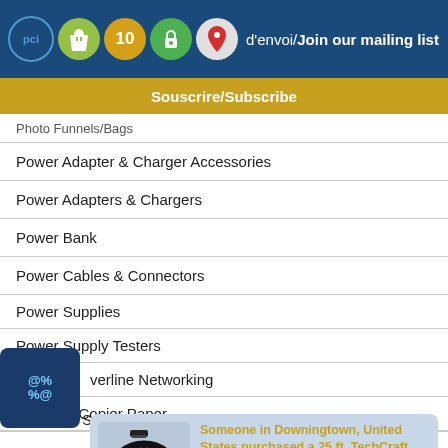d'envoi/Join our mailing list
Souscrire/Subscribe
Photo Funnels/Bags
Power Adapter & Charger Accessories
Power Adapters & Chargers
Power Bank
Power Cables & Connectors
Power Supplies
Power Supply Testers
Powerline Networking
Printer & Copier Paper
[Figure (screenshot): Email/contact icon with @ and % symbols on dark blue rounded square background]
[Figure (photo): Black USB 2.0 cable coiled]
Someone in Downingtown, United States purchased a 25 ft. TechCraft USB 2.0 A Male to USB 2.0 B Male Platinum Series Cable - Black
Printer...
Pri...
Pr...
Projection Screens & Material